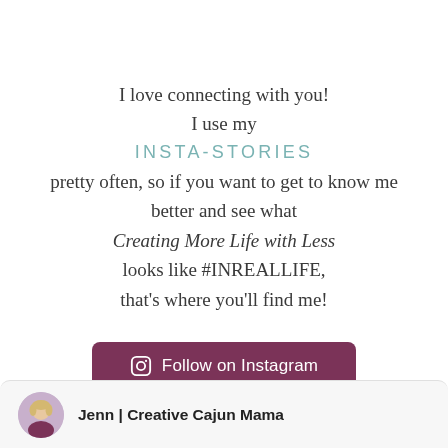I love connecting with you! I use my INSTA-STORIES pretty often, so if you want to get to know me better and see what Creating More Life with Less looks like #INREALLIFE, that's where you'll find me!
[Figure (other): Purple rounded button labeled 'Follow on Instagram' with Instagram camera icon]
[Figure (other): Profile card with circular avatar photo of a woman with blonde hair wearing purple, and name 'Jenn | Creative Cajun Mama']